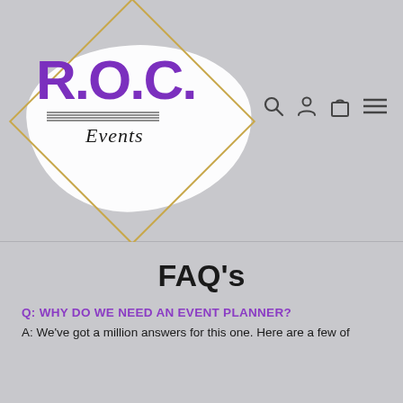[Figure (logo): R.O.C Events logo with purple bold letters ROC, italic black script 'Events', gold diamond border outline, and white paint brush stroke background]
FAQ's
Q: WHY DO WE NEED AN EVENT PLANNER?
A: We've got a million answers for this one. Here are a few of